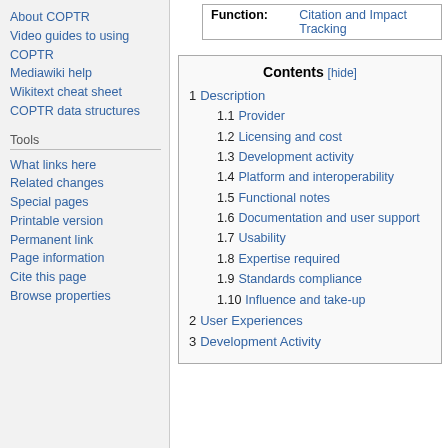About COPTR
Video guides to using COPTR
Mediawiki help
Wikitext cheat sheet
COPTR data structures
Tools
What links here
Related changes
Special pages
Printable version
Permanent link
Page information
Cite this page
Browse properties
| Function: |  |
| --- | --- |
| Function: | Citation and Impact
Tracking |
| Contents [hide] |
| 1  Description |
| 1.1  Provider |
| 1.2  Licensing and cost |
| 1.3  Development activity |
| 1.4  Platform and interoperability |
| 1.5  Functional notes |
| 1.6  Documentation and user support |
| 1.7  Usability |
| 1.8  Expertise required |
| 1.9  Standards compliance |
| 1.10  Influence and take-up |
| 2  User Experiences |
| 3  Development Activity |